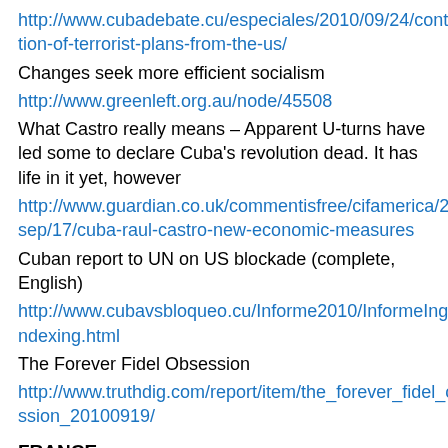http://www.cubadebate.cu/especiales/2010/09/24/continuation-of-terrorist-plans-from-the-us/
Changes seek more efficient socialism
http://www.greenleft.org.au/node/45508
What Castro really means – Apparent U-turns have led some to declare Cuba's revolution dead. It has life in it yet, however
http://www.guardian.co.uk/commentisfree/cifamerica/2010/sep/17/cuba-raul-castro-new-economic-measures
Cuban report to UN on US blockade (complete, English)
http://www.cubavsbloqueo.cu/Informe2010/InformeIngles/indexing.html
The Forever Fidel Obsession
http://www.truthdig.com/report/item/the_forever_fidel_obsession_20100919/
FRANCE